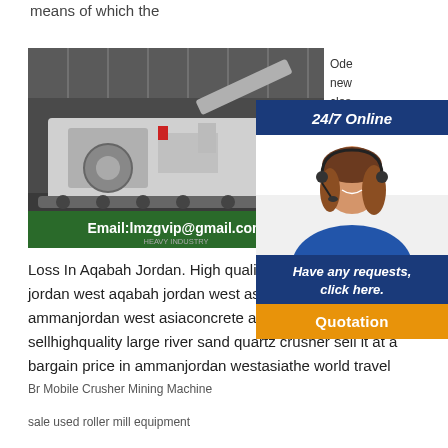means of which the
[Figure (photo): Industrial mobile crusher/screening equipment in a factory, with email overlay: Email:lmzgvip@gmail.com and text HEAVY INDUSTRY]
Ode... new... clas... loss... Jul ... 202... Cla...
Loss In Aqabah Jordan. High quality medium clas... aqabah jordan west aqabah jordan west asia high... clinker classifier ammanjordan west asiaconcrete aggregate jaw crusher sellhighquality large river sand quartz crusher sell it at a bargain price in ammanjordan westasiathe world travel
Br Mobile Crusher Mining Machine
sale used roller mill equipment